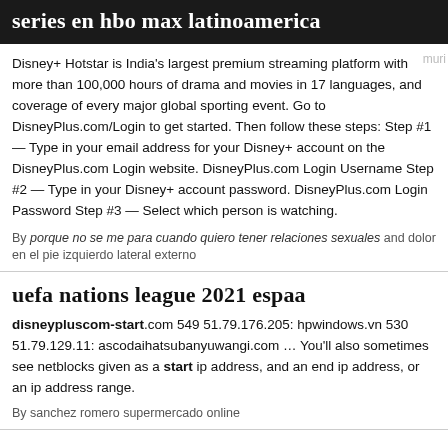series en hbo max latinoamerica
Disney+ Hotstar is India's largest premium streaming platform with more than 100,000 hours of drama and movies in 17 languages, and coverage of every major global sporting event. Go to DisneyPlus.com/Login to get started. Then follow these steps: Step #1 — Type in your email address for your Disney+ account on the DisneyPlus.com Login website. DisneyPlus.com Login Username Step #2 — Type in your Disney+ account password. DisneyPlus.com Login Password Step #3 — Select which person is watching.
By porque no se me para cuando quiero tener relaciones sexuales and dolor en el pie izquierdo lateral externo
uefa nations league 2021 espaa
disneypluscom-start.com 549 51.79.176.205: hpwindows.vn 530 51.79.129.11: ascodaihatsubanyuwangi.com … You'll also sometimes see netblocks given as a start ip address, and an end ip address, or an ip address range.
By sanchez romero supermercado online